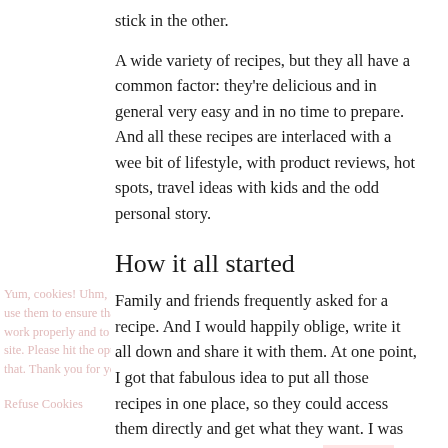stick in the other.
A wide variety of recipes, but they all have a common factor: they're delicious and in general very easy and in no time to prepare. And all these recipes are interlaced with a wee bit of lifestyle, with product reviews, hot spots, travel ideas with kids and the odd personal story.
How it all started
Family and friends frequently asked for a recipe. And I would happily oblige, write it all down and share it with them. At one point, I got that fabulous idea to put all those recipes in one place, so they could access them directly and get what they want. I was convinced that this would save me a lot of work, and time. Oh boy, little did I know...